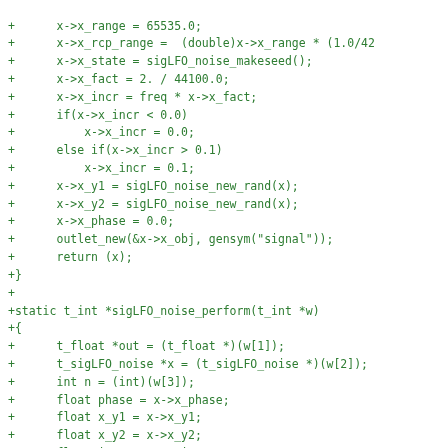[Figure (other): Code diff snippet in green monospace font showing C code for sigLFO_noise functions]